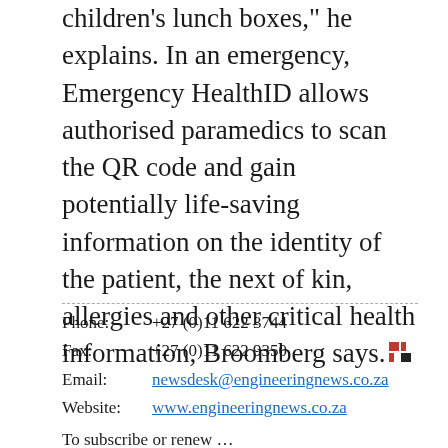children's lunch boxes," he explains. In an emergency, Emergency HealthID allows authorised paramedics to scan the QR code and gain potentially life-saving information on the identity of the patient, the next of kin, allergies and other critical health information, Broomberg says.
Phone: +27 (0)11 622 3744
Fax: +27 (0)11 622 9350
Email: newsdesk@engineeringnews.co.za
Website: www.engineeringnews.co.za